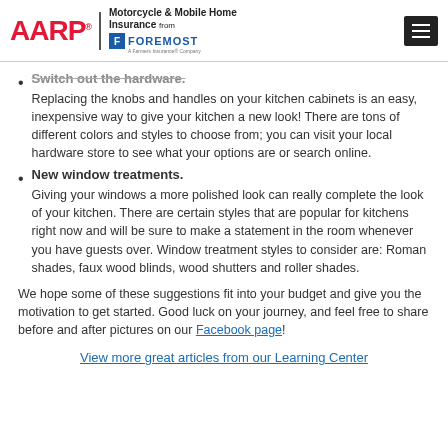AARP Motorcycle & Mobile Home Insurance from FOREMOST
Switch out the hardware. Replacing the knobs and handles on your kitchen cabinets is an easy, inexpensive way to give your kitchen a new look! There are tons of different colors and styles to choose from; you can visit your local hardware store to see what your options are or search online.
New window treatments. Giving your windows a more polished look can really complete the look of your kitchen. There are certain styles that are popular for kitchens right now and will be sure to make a statement in the room whenever you have guests over. Window treatment styles to consider are: Roman shades, faux wood blinds, wood shutters and roller shades.
We hope some of these suggestions fit into your budget and give you the motivation to get started. Good luck on your journey, and feel free to share before and after pictures on our Facebook page!
View more great articles from our Learning Center